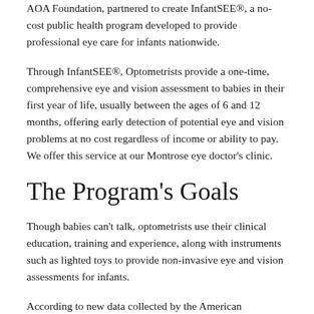AOA Foundation, partnered to create InfantSEE®, a no-cost public health program developed to provide professional eye care for infants nationwide.
Through InfantSEE®, Optometrists provide a one-time, comprehensive eye and vision assessment to babies in their first year of life, usually between the ages of 6 and 12 months, offering early detection of potential eye and vision problems at no cost regardless of income or ability to pay. We offer this service at our Montrose eye doctor's clinic.
The Program's Goals
Though babies can't talk, optometrists use their clinical education, training and experience, along with instruments such as lighted toys to provide non-invasive eye and vision assessments for infants.
According to new data collected by the American Optometric